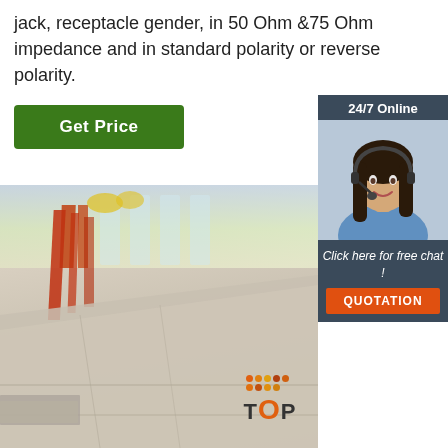jack, receptacle gender, in 50 Ohm &75 Ohm impedance and in standard polarity or reverse polarity.
[Figure (other): Green 'Get Price' button]
[Figure (other): Sidebar with '24/7 Online' banner, customer service representative photo with headset, 'Click here for free chat!' text, and orange 'QUOTATION' button]
[Figure (photo): Warehouse interior showing steel plates on a floor, red metal support beams, and large windows in background. Orange/red TOP logo with dots in bottom right corner.]